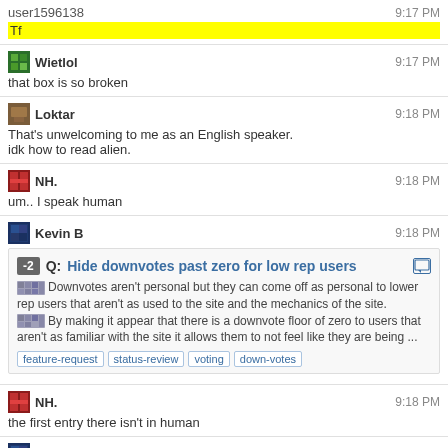user1596138  9:17 PM
Tf
Wietlol  9:17 PM
that box is so broken
Loktar  9:18 PM
That's unwelcoming to me as an English speaker.
idk how to read alien.
NH.  9:18 PM
um.. I speak human
Kevin B  9:18 PM
[embedded question card: -2 Q: Hide downvotes past zero for low rep users | Downvotes aren't personal but they can come off as personal to lower rep users that aren't as used to the site and the mechanics of the site. By making it appear that there is a downvote floor of zero to users that aren't as familiar with the site it allows them to not feel like they are being ... | tags: feature-request, status-review, voting, down-votes]
NH.  9:18 PM
the first entry there isn't in human
Kevin B  9:18 PM
i hate meta stackexchange